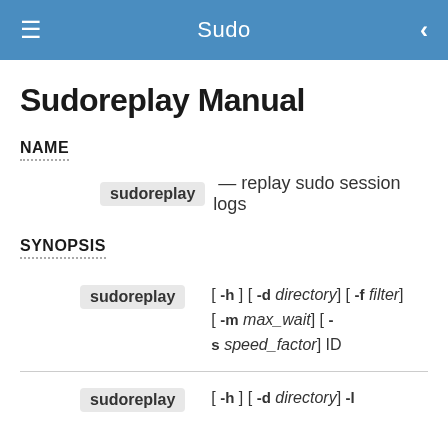Sudo
Sudoreplay Manual
NAME
sudoreplay — replay sudo session logs
SYNOPSIS
sudoreplay [ -h ] [ -d directory] [ -f filter] [ -m max_wait] [ -s speed_factor] ID
sudoreplay [ -h ] [ -d directory] -l